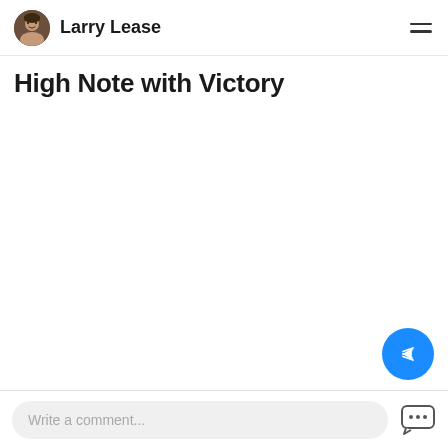Larry Lease
High Note with Victory
[Figure (other): Blue circular share/reply FAB button with white arrow icon]
Write a comment...
[Figure (other): Chat/messaging icon with ellipsis dots]